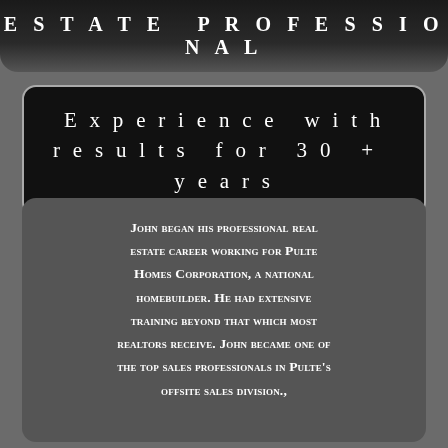ESTATE PROFESSIONAL
Experience with results for 30 + years
John began his professional real estate career working for Pulte Homes Corporation, a national homebuilder. He had extensive training beyond that which most realtors receive. John became one of the top sales professionals in Pulte's offsite sales division.,